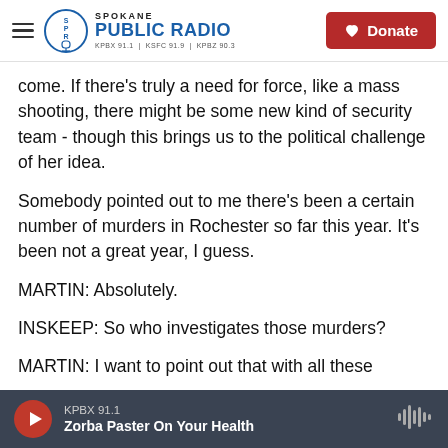Spokane Public Radio — KPBX 91.1 | KSFC 91.9 | KPBZ 90.3 | Donate
come. If there's truly a need for force, like a mass shooting, there might be some new kind of security team - though this brings us to the political challenge of her idea.
Somebody pointed out to me there's been a certain number of murders in Rochester so far this year. It's been not a great year, I guess.
MARTIN: Absolutely.
INSKEEP: So who investigates those murders?
MARTIN: I want to point out that with all these
KPBX 91.1 — Zorba Paster On Your Health